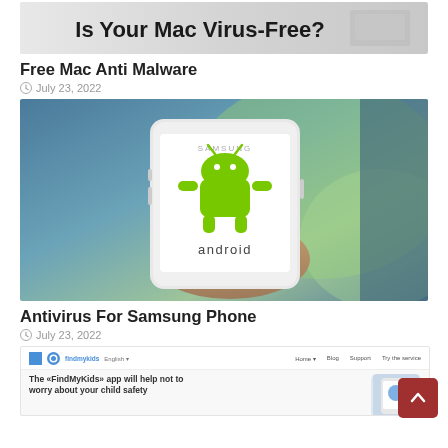[Figure (screenshot): Banner image with text 'Is Your Mac Virus-Free?' on a light gray background]
Free Mac Anti Malware
July 23, 2022
[Figure (photo): Hand holding a Samsung smartphone displaying the Android logo (green robot) and the word 'android' on a white screen, with a blurred green and blue background]
Antivirus For Samsung Phone
July 23, 2022
[Figure (screenshot): Screenshot of FindMyKids website with navigation bar and text 'The «FindMyKids» app will help not to worry about your child safety']